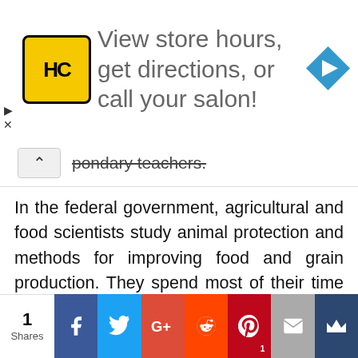[Figure (other): Advertisement banner with HC logo (yellow/black), text 'View store hours, get directions, or call your salon!' and a blue diamond navigation arrow icon]
pondary teachers.
In the federal government, agricultural and food scientists study animal protection and methods for improving food and grain production. They spend most of their time conducting clinical trials or conducting experiments on animal and plant issues. Agricultural and food scientists eventually present their findings in peer-reviewed journals or other publications.
[Figure (other): Social share bar with share count '1 Shares' and buttons for Facebook, Twitter, Google+, Reddit, Pinterest, Email, and Crown icon]